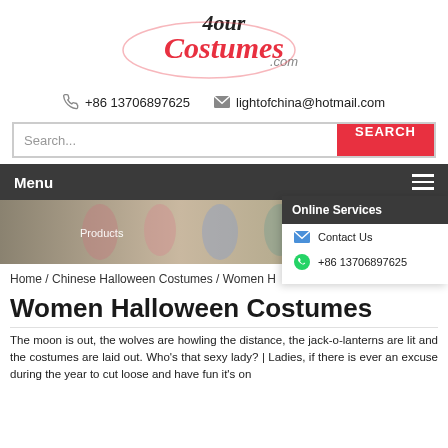[Figure (logo): 4our Costumes .com logo with stylized red and black text]
+86 13706897625   lightofchina@hotmail.com
Search...  SEARCH
Menu
[Figure (photo): Banner photo of cosplay characters in colorful costumes with 'Products' text overlay]
Online Services
Contact Us
+86 13706897625
Home / Chinese Halloween Costumes / Women H
Women Halloween Costumes
The moon is out, the wolves are howling the distance, the jack-o-lanterns are lit and the costumes are laid out. Who's that sexy lady? | Ladies, if there is ever an excuse during the year to cut loose and have fun it's on